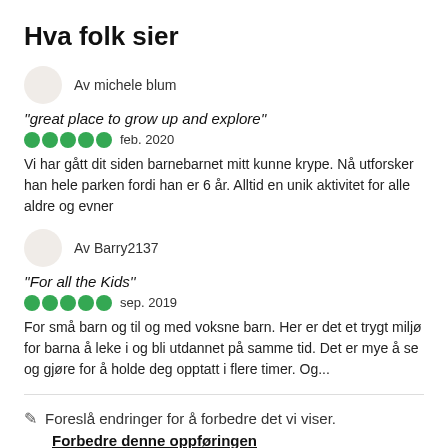Hva folk sier
Av michele blum
"great place to grow up and explore"
feb. 2020
Vi har gått dit siden barnebarnet mitt kunne krype. Nå utforsker han hele parken fordi han er 6 år. Alltid en unik aktivitet for alle aldre og evner
Av Barry2137
"For all the Kids"
sep. 2019
For små barn og til og med voksne barn. Her er det et trygt miljø for barna å leke i og bli utdannet på samme tid. Det er mye å se og gjøre for å holde deg opptatt i flere timer. Og...
Foreslå endringer for å forbedre det vi viser.
Forbedre denne oppføringen